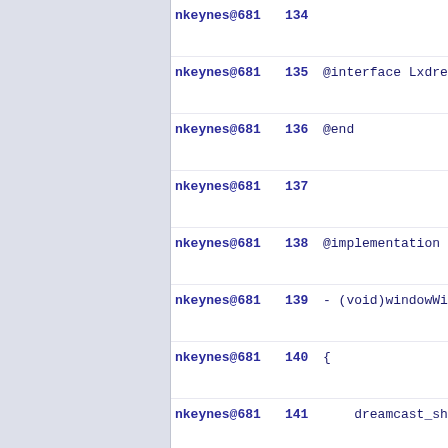nkeynes@681  134
nkeynes@681  135  @interface Lxdream
nkeynes@681  136  @end
nkeynes@681  137
nkeynes@681  138  @implementation Lx
nkeynes@681  139  - (void)windowWill
nkeynes@681  140  {
nkeynes@681  141      dreamcast_shut
nkeynes@681  142      exit(0);
nkeynes@681  143  }
nkeynes@681  144  - (void)windowDidB